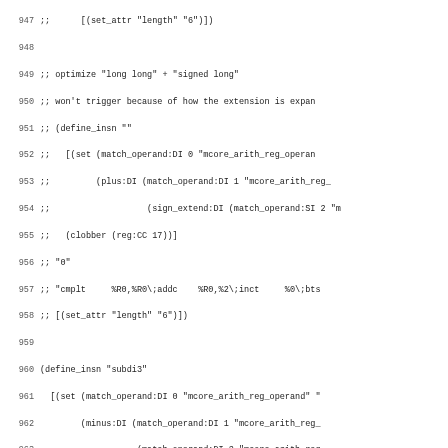[Figure (screenshot): Source code listing showing assembly/RTL code (likely GCC machine description file) with line numbers 947-978. Contains commented-out code for 'long long' + 'signed long' optimization, define_insn for 'subdi3', and start of 'mulsi3' definition. Code uses Courier monospace font on white background.]